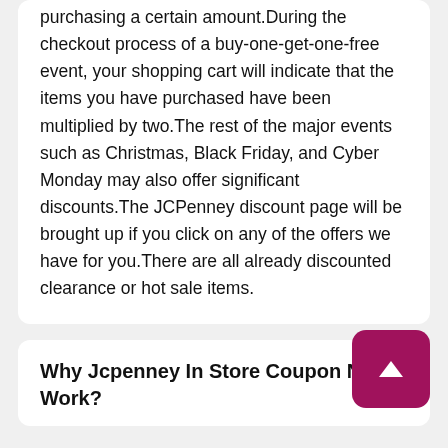purchasing a certain amount.During the checkout process of a buy-one-get-one-free event, your shopping cart will indicate that the items you have purchased have been multiplied by two.The rest of the major events such as Christmas, Black Friday, and Cyber Monday may also offer significant discounts.The JCPenney discount page will be brought up if you click on any of the offers we have for you.There are all already discounted clearance or hot sale items.
Why Jcpenney In Store Coupon Not Work?